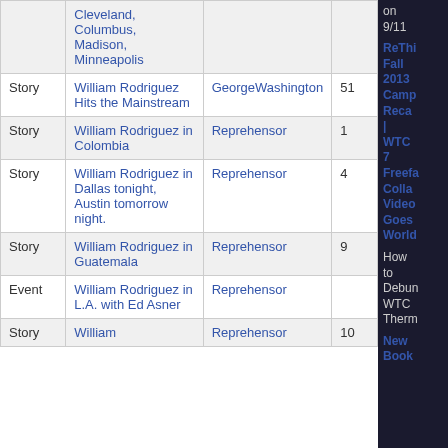| Type | Title | Source | Count |
| --- | --- | --- | --- |
|  | Cleveland, Columbus, Madison, Minneapolis |  |  |
| Story | William Rodriguez Hits the Mainstream | GeorgeWashington | 51 |
| Story | William Rodriguez in Colombia | Reprehensor | 1 |
| Story | William Rodriguez in Dallas tonight, Austin tomorrow night. | Reprehensor | 4 |
| Story | William Rodriguez in Guatemala | Reprehensor | 9 |
| Event | William Rodriguez in L.A. with Ed Asner | Reprehensor |  |
| Story | William | Reprehensor | 10 |
on 9/11
ReThi Fall 2013 Camp Reca | WTC 7 Freefa Colla Video Goes World
How to Debun WTC Therm
New Book